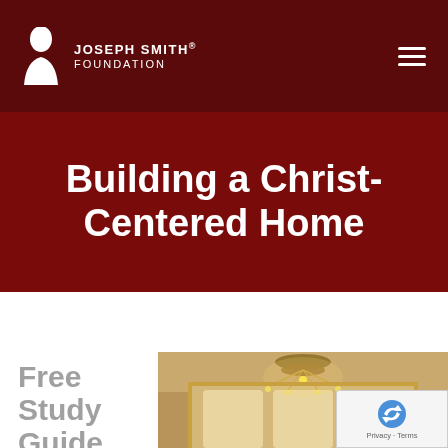Joseph Smith® Foundation
Building a Christ-Centered Home
Free Study Guide!
[Figure (photo): Interior photo of an elegant room with a large crystal chandelier and arched French doors with ornate gold molding]